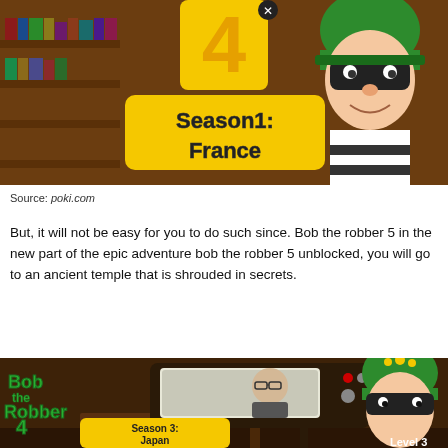[Figure (screenshot): Screenshot of Bob the Robber 4 Season 1: France game title screen with cartoon robber character wearing green beanie and black mask]
Source: poki.com
But, it will not be easy for you to do such since. Bob the robber 5 in the new part of the epic adventure bob the robber 5 unblocked, you will go to an ancient temple that is shrouded in secrets.
[Figure (screenshot): Screenshot of Bob the Robber 4 Season 3: Japan game title screen showing cartoon robber watching TV with a man on screen, Level 3 visible at bottom right]